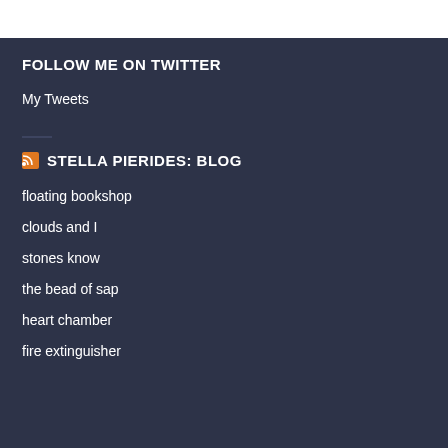FOLLOW ME ON TWITTER
My Tweets
STELLA PIERIDES: BLOG
floating bookshop
clouds and I
stones know
the bead of sap
heart chamber
fire extinguisher